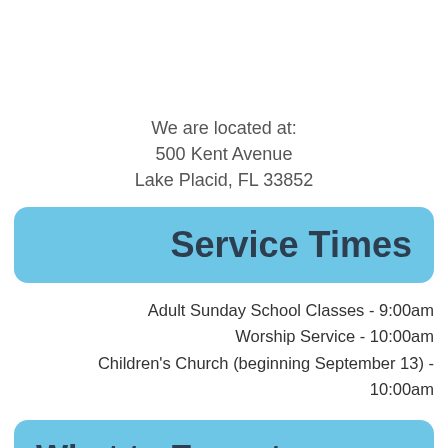We are located at:
500 Kent Avenue
Lake Placid, FL 33852
Service Times
Adult Sunday School Classes - 9:00am
Worship Service - 10:00am
Children's Church (beginning September 13) - 10:00am
What to Expect